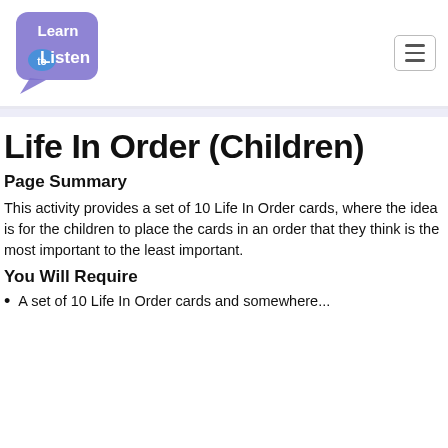Learn to Listen [logo] [menu button]
Life In Order (Children)
Page Summary
This activity provides a set of 10 Life In Order cards, where the idea is for the children to place the cards in an order that they think is the most important to the least important.
You Will Require
A set of 10 Life In Order cards and somewhere...